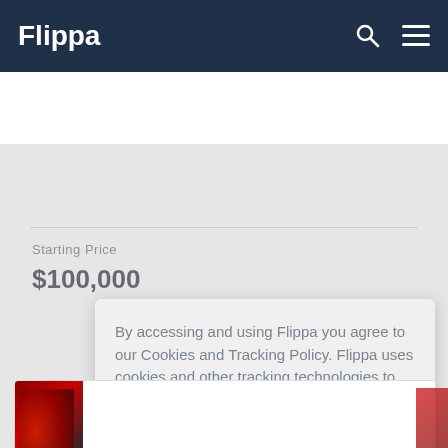Flippa
Starting Price
$100,000
By accessing and using Flippa you agree to our Cookies and Tracking Policy. Flippa uses cookies and other tracking technologies to customise your experience including delivering advertising and other services.
Please see the Flippa Privacy Policy
OK